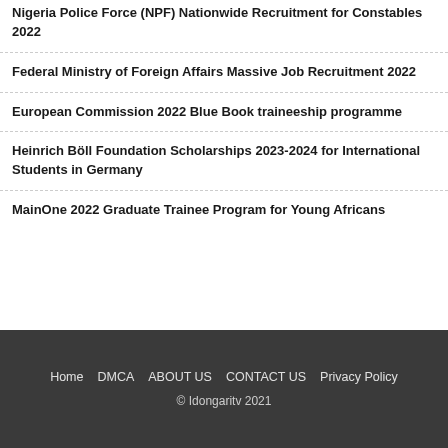Nigeria Police Force (NPF) Nationwide Recruitment for Constables 2022
Federal Ministry of Foreign Affairs Massive Job Recruitment 2022
European Commission 2022 Blue Book traineeship programme
Heinrich Böll Foundation Scholarships 2023-2024 for International Students in Germany
MainOne 2022 Graduate Trainee Program for Young Africans
Home  DMCA  ABOUT US  CONTACT US  Privacy Policy
© Idongaritv 2021